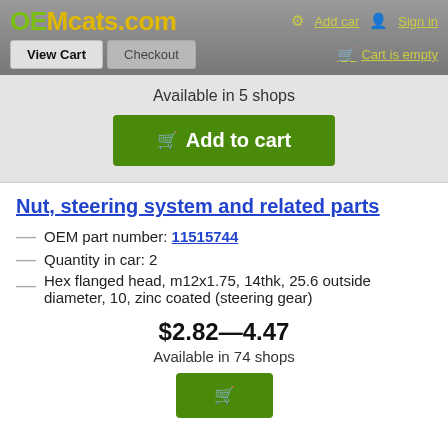OEMcats.com — Add car | Sign in | View Cart | Checkout | Cart is empty
Available in 5 shops
Add to cart
Nut, steering system and related parts
OEM part number: 11515744
Quantity in car: 2
Hex flanged head, m12x1.75, 14thk, 25.6 outside diameter, 10, zinc coated (steering gear)
$2.82—4.47
Available in 74 shops